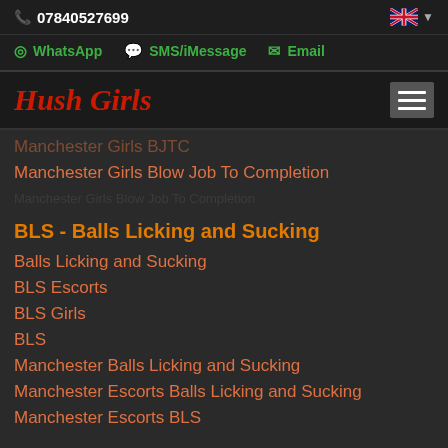07840527699
WhatsApp  SMS/iMessage  Email
Hush Girls
Manchester Girls BJTC
Manchester Girls Blow Job To Completion
BLS - Balls Licking and Sucking
Balls Licking and Sucking
BLS Escorts
BLS Girls
BLS
Manchester Balls Licking and Sucking
Manchester Escorts Balls Licking and Sucking
Manchester Escorts BLS